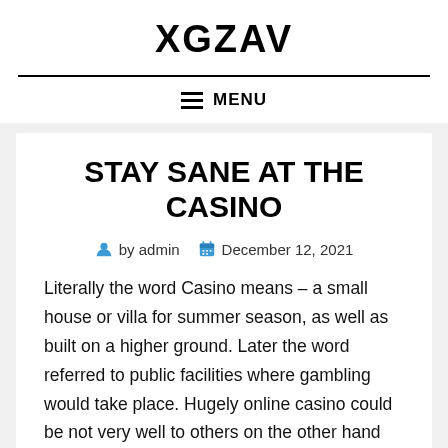XGZAV
MENU
STAY SANE AT THE CASINO
by admin   December 12, 2021
Literally the word Casino means – a small house or villa for summer season, as well as built on a higher ground. Later the word referred to public facilities where gambling would take place. Hugely online casino could be not very well to others on the other hand can say that online casino is real fun.